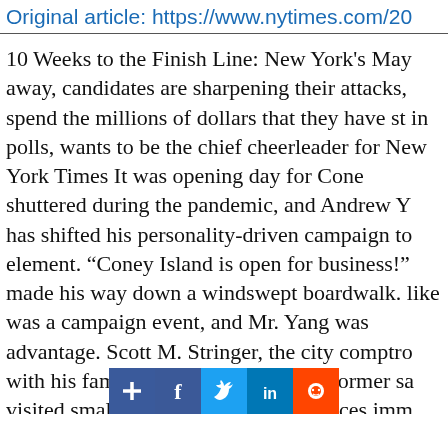Original article: https://www.nytimes.com/20
10 Weeks to the Finish Line: New York's May away, candidates are sharpening their attacks, spend the millions of dollars that they have st in polls, wants to be the chief cheerleader for New York Times It was opening day for Cone shuttered during the pandemic, and Andrew Y has shifted his personality-driven campaign to element. “Coney Island is open for business!” made his way down a windswept boardwalk. like was a campaign event, and Mr. Yang was advantage. Scott M. Stringer, the city comptro with his family; Kathryn Garcia, the former sa visited small businesses. New York faces imm the pandemic. Thousands of deaths, economic racial and socioeconomic inequality complica